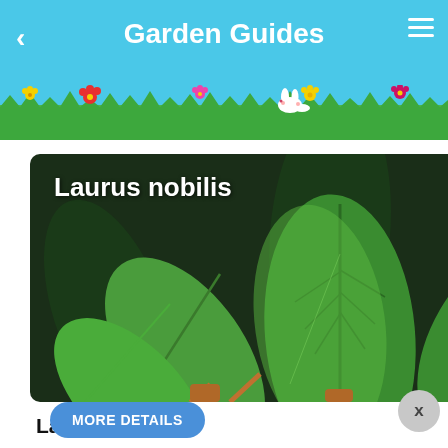Garden Guides
[Figure (photo): Close-up photo of Laurus nobilis (bay laurel) leaves, showing large green glossy leaves with visible veins against a dark background. The plant name 'Laurus nobilis' is overlaid in white bold text at the top left.]
Laurus nobilis
| Characteristics | Value |
| --- | --- |
| Bay Laurel, Bay Leaf |  |
MORE DETAILS